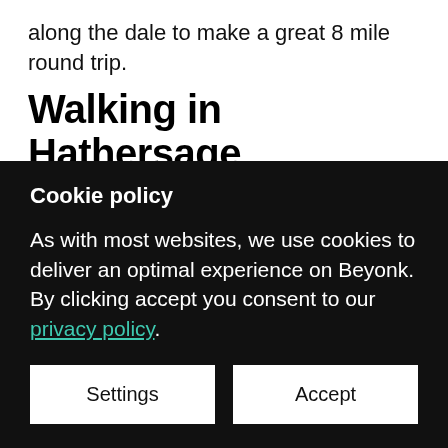along the dale to make a great 8 mile round trip.
Walking in Hathersage
Hathersage is a vibrant village with several great pubs and outdoors shops, perhaps due to it's proximity to Sheffield, but perhaps even more so for it's proximity to one of the most popular climbing locations in the
Cookie policy
As with most websites, we use cookies to deliver an optimal experience on Beyonk. By clicking accept you consent to our privacy policy.